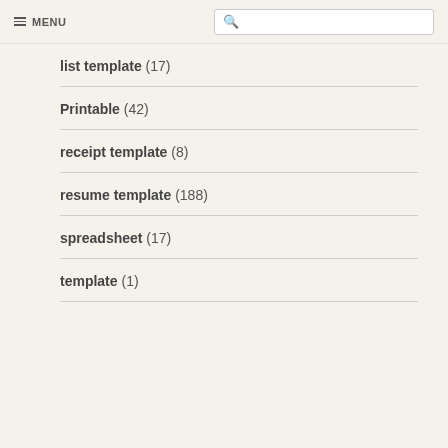MENU
list template (17)
Printable (42)
receipt template (8)
resume template (188)
spreadsheet (17)
template (1)